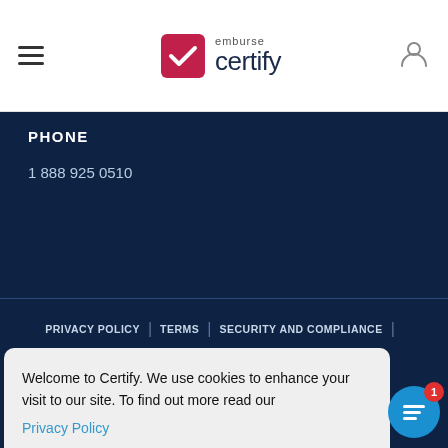emburse certify
PHONE
1 888 925 0510
PRIVACY POLICY | TERMS | SECURITY AND COMPLIANCE |
Welcome to Certify. We use cookies to enhance your visit to our site. To find out more read our Privacy Policy
Got it!